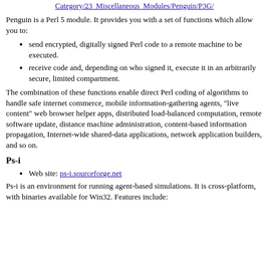Category/23_Miscellaneous_Modules/Penguin/P3G/
Penguin is a Perl 5 module. It provides you with a set of functions which allow you to:
send encrypted, digitally signed Perl code to a remote machine to be executed.
receive code and, depending on who signed it, execute it in an arbitrarily secure, limited compartment.
The combination of these functions enable direct Perl coding of algorithms to handle safe internet commerce, mobile information-gathering agents, "live content" web browser helper apps, distributed load-balanced computation, remote software update, distance machine administration, content-based information propagation, Internet-wide shared-data applications, network application builders, and so on.
Ps-i
Web site: ps-i.sourceforge.net
Ps-i is an environment for running agent-based simulations. It is cross-platform, with binaries available for Win32. Features include:
...